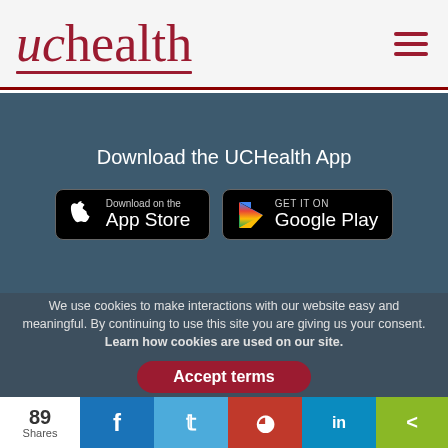[Figure (logo): UCHealth logo in dark red/maroon italic serif font with underline]
Download the UCHealth App
[Figure (screenshot): App Store download button (black rounded rectangle with Apple logo)]
[Figure (screenshot): Google Play download button (black rounded rectangle with Play triangle icon)]
We use cookies to make interactions with our website easy and meaningful. By continuing to use this site you are giving us your consent. Learn how cookies are used on our site.
Accept terms
89 Shares